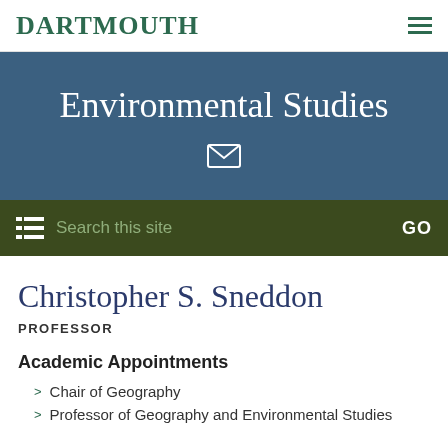DARTMOUTH
Environmental Studies
Search this site  GO
Christopher S. Sneddon
PROFESSOR
Academic Appointments
Chair of Geography
Professor of Geography and Environmental Studies